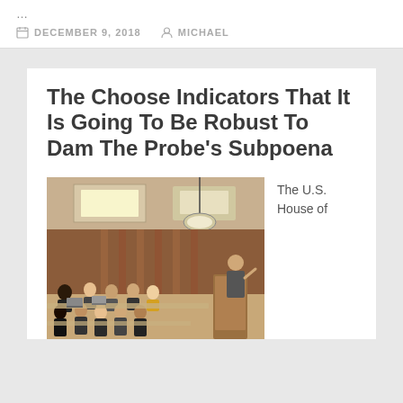...
DECEMBER 9, 2018   MICHAEL
The Choose Indicators That It Is Going To Be Robust To Dam The Probe's Subpoena
[Figure (photo): A lecture hall scene with many students seated at tables, and a man in a suit speaking at a podium at the front of the room. The room has warm wood paneling and overhead lighting.]
The U.S. House of